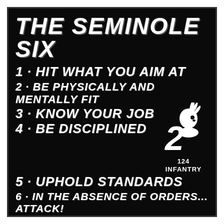THE SEMINOLE SIX
1 · HIT WHAT YOU AIM AT
2 · BE PHYSICALLY AND MENTALLY FIT
3 · KNOW YOUR JOB
4 · BE DISCIPLINED
5 · UPHOLD STANDARDS
[Figure (logo): 124 Infantry regiment insignia: a stylized numeral 2 with a Native American chief head profile in white, with text '124 INFANTRY' below]
6 · IN THE ABSENCE OF ORDERS... ATTACK!